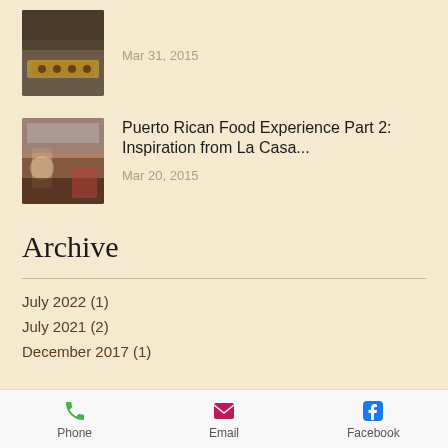[Figure (photo): Thumbnail photo of food/pastry items on a tray, partially cropped at top]
Mar 31, 2015
[Figure (photo): Thumbnail photo of a restaurant interior with warm lighting and decorations]
Puerto Rican Food Experience Part 2: Inspiration from La Casa...
Mar 20, 2015
Archive
July 2022 (1)
July 2021 (2)
December 2017 (1)
Phone   Email   Facebook